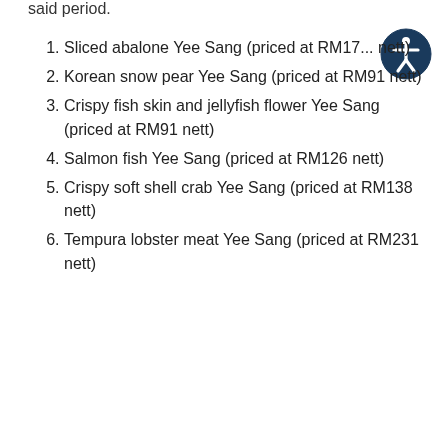said period.
Sliced abalone Yee Sang (priced at RM17... nett)
Korean snow pear Yee Sang (priced at RM91 nett)
Crispy fish skin and jellyfish flower Yee Sang (priced at RM91 nett)
Salmon fish Yee Sang (priced at RM126 nett)
Crispy soft shell crab Yee Sang (priced at RM138 nett)
Tempura lobster meat Yee Sang (priced at RM231 nett)